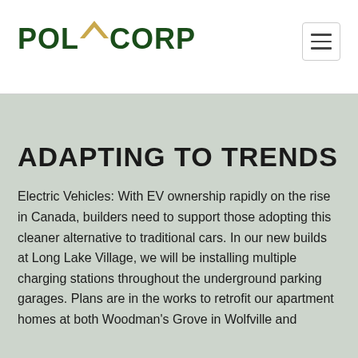[Figure (logo): Polycorp logo with dark green bold text and a gold triangular house/arrow icon above the letter Y]
ADAPTING TO TRENDS
Electric Vehicles: With EV ownership rapidly on the rise in Canada, builders need to support those adopting this cleaner alternative to traditional cars. In our new builds at Long Lake Village, we will be installing multiple charging stations throughout the underground parking garages. Plans are in the works to retrofit our apartment homes at both Woodman's Grove in Wolfville and